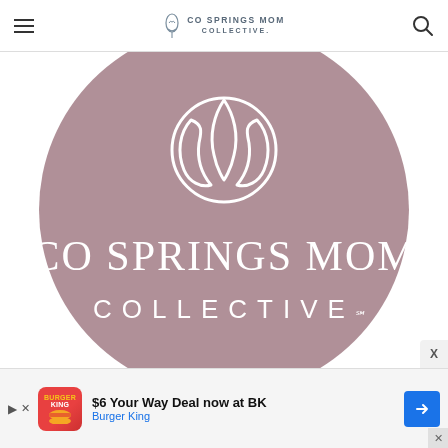CO SPRINGS MOM COLLECTIVE
[Figure (logo): CO Springs Mom Collective logo: large mauve/dusty rose circle with white tulip/flower icon at top center, white text 'CO SPRINGS MOM' in large letters and 'COLLECTIVE SM' below in spaced letters]
[Figure (infographic): Advertisement banner: Burger King ad showing '$6 Your Way Deal now at BK' with Burger King logo and navigation arrow button]